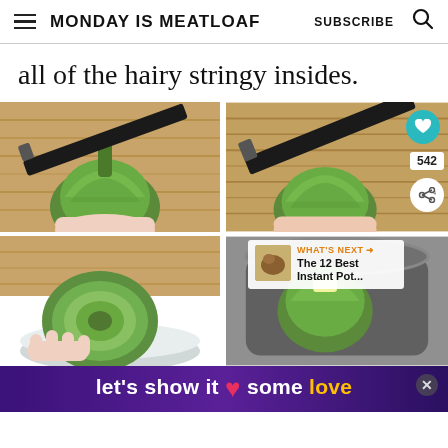MONDAY IS MEATLOAF   SUBSCRIBE
all of the hairy stringy insides.
[Figure (photo): A knife cutting the stem of a whole artichoke on a wooden cutting board, hands visible]
[Figure (photo): A knife cutting the top of a whole artichoke on a wooden cutting board, hands visible, with heart/share overlay badges]
[Figure (photo): A halved artichoke being held over a white bowl showing the interior layers]
[Figure (photo): An artichoke in an Instant Pot with 'What's Next - The 12 Best Instant Pot...' overlay]
let's show it some love